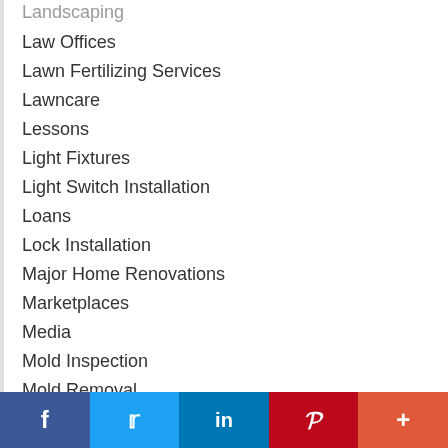Landscaping
Law Offices
Lawn Fertilizing Services
Lawncare
Lessons
Light Fixtures
Light Switch Installation
Loans
Lock Installation
Major Home Renovations
Marketplaces
Media
Mold Inspection
Mold Removal
Facebook | Twitter | LinkedIn | Pinterest | More